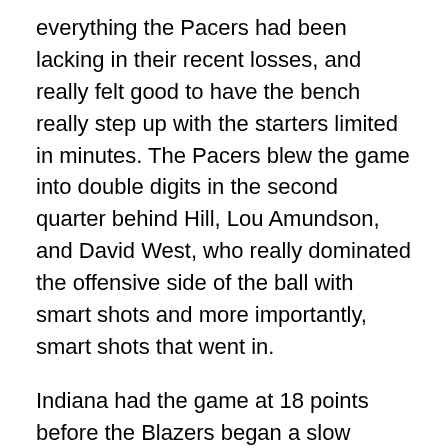everything the Pacers had been lacking in their recent losses, and really felt good to have the bench really step up with the starters limited in minutes. The Pacers blew the game into double digits in the second quarter behind Hill, Lou Amundson, and David West, who really dominated the offensive side of the ball with smart shots and more importantly, smart shots that went in.
Indiana had the game at 18 points before the Blazers began a slow comeback led by free throw attempt after free throw attempt. Portland finished the night +22 in free throw points on 23 extra attempts, a note for how badly Indiana shot from the line (just 8-15), and how many free throws Portland shot period (38). The active defense no doubt had the attention of the refs, who were quick to blow the whistle on the Pacers to put